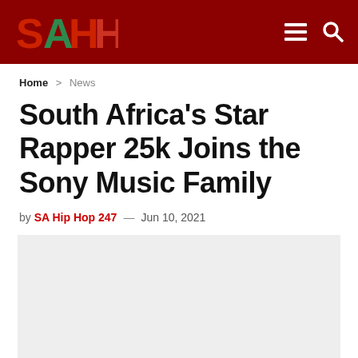SAHH — SA Hip Hop 247 website header with navigation icons
Home > News
South Africa's Star Rapper 25k Joins the Sony Music Family
by SA Hip Hop 247 — Jun 10, 2021
[Figure (photo): Article featured image placeholder — light gray rectangle]